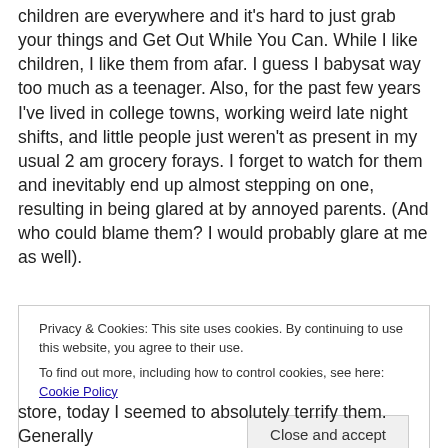children are everywhere and it's hard to just grab your things and Get Out While You Can. While I like children, I like them from afar. I guess I babysat way too much as a teenager. Also, for the past few years I've lived in college towns, working weird late night shifts, and little people just weren't as present in my usual 2 am grocery forays. I forget to watch for them and inevitably end up almost stepping on one, resulting in being glared at by annoyed parents. (And who could blame them? I would probably glare at me as well).
Privacy & Cookies: This site uses cookies. By continuing to use this website, you agree to their use. To find out more, including how to control cookies, see here: Cookie Policy
store, today I seemed to absolutely terrify them. Generally